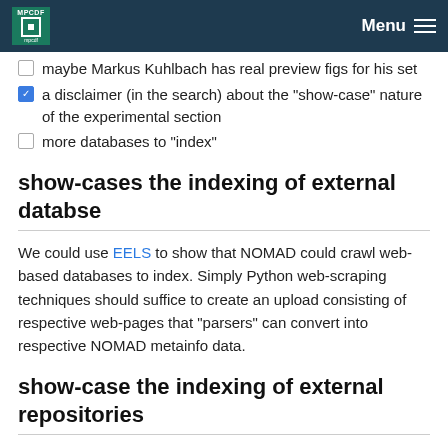MPCDF | Menu
maybe Markus Kuhlbach has real preview figs for his set
a disclaimer (in the search) about the "show-case" nature of the experimental section
more databases to "index"
show-cases the indexing of external databse
We could use EELS to show that NOMAD could crawl web-based databases to index. Simply Python web-scraping techniques should suffice to create an upload consisting of respective web-pages that "parsers" can convert into respective NOMAD metainfo data.
show-case the indexing of external repositories
We could use zenoodo and its API to improve the metadata in